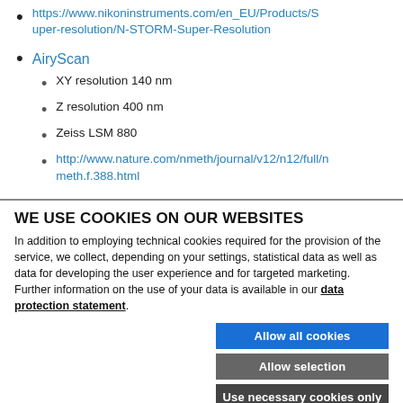https://www.nikoninstruments.com/en_EU/Products/Super-resolution/N-STORM-Super-Resolution
AiryScan
XY resolution 140 nm
Z resolution 400 nm
Zeiss LSM 880
http://www.nature.com/nmeth/journal/v12/n12/full/nmeth.f.388.html
WE USE COOKIES ON OUR WEBSITES
In addition to employing technical cookies required for the provision of the service, we collect, depending on your settings, statistical data as well as data for developing the user experience and for targeted marketing. Further information on the use of your data is available in our data protection statement.
Allow all cookies
Allow selection
Use necessary cookies only